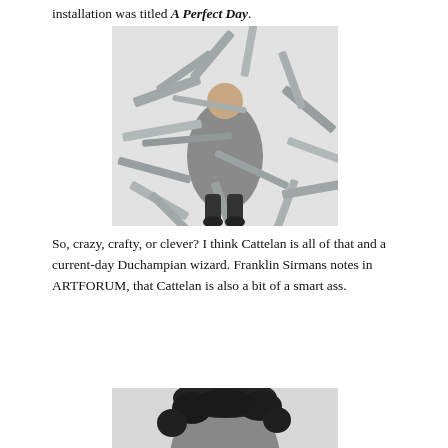installation was titled A Perfect Day.
[Figure (photo): A person standing and covered or wrapped in a large chaotic mass of silver/grey tape strips spreading outward in all directions, photographed from above against a white background.]
So, crazy, crafty, or clever? I think Cattelan is all of that and a current-day Duchampian wizard. Franklin Sirmans notes in ARTFORUM, that Cattelan is also a bit of a smart ass.
[Figure (photo): Partial view of a person's head with dark curly hair, cropped at the bottom of the page.]